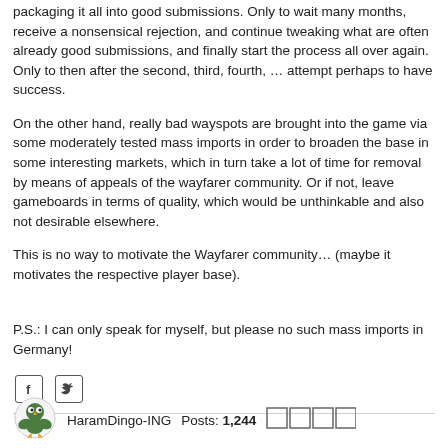packaging it all into good submissions. Only to wait many months, receive a nonsensical rejection, and continue tweaking what are often already good submissions, and finally start the process all over again. Only to then after the second, third, fourth, … attempt perhaps to have success.
On the other hand, really bad wayspots are brought into the game via some moderately tested mass imports in order to broaden the base in some interesting markets, which in turn take a lot of time for removal by means of appeals of the wayfarer community. Or if not, leave gameboards in terms of quality, which would be unthinkable and also not desirable elsewhere.
This is no way to motivate the Wayfarer community… (maybe it motivates the respective player base).
P.S.: I can only speak for myself, but please no such mass imports in Germany!
[Figure (other): Social share icons: Facebook (f) and Twitter (bird icon) as small outlined boxes]
HaramDingo-ING   Posts: 1,244   ★★★★★